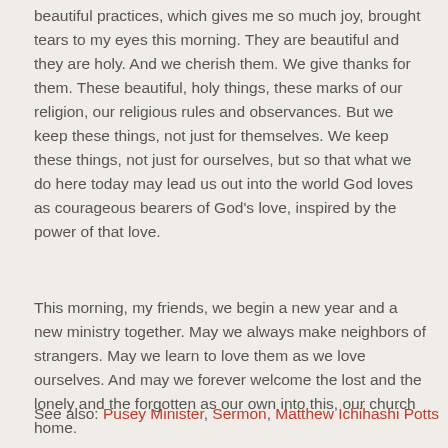beautiful practices, which gives me so much joy, brought tears to my eyes this morning. They are beautiful and they are holy. And we cherish them. We give thanks for them. These beautiful, holy things, these marks of our religion, our religious rules and observances. But we keep these things, not just for themselves. We keep these things, not just for ourselves, but so that what we do here today may lead us out into the world God loves as courageous bearers of God's love, inspired by the power of that love.
This morning, my friends, we begin a new year and a new ministry together. May we always make neighbors of strangers. May we learn to love them as we love ourselves. And may we forever welcome the lost and the lonely and the forgotten as our own into this, our church home.
See also: Pusey Minister, Sermon, Matthew Ichihashi Potts